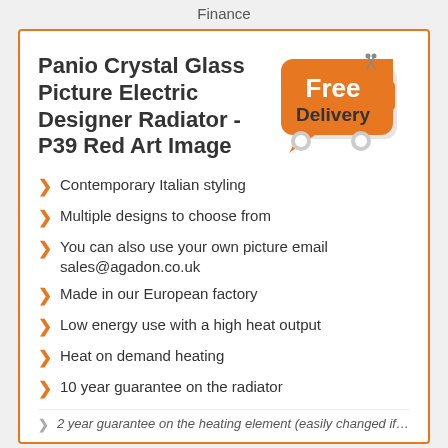Finance
Panio Crystal Glass Picture Electric Designer Radiator - P39 Red Art Image
[Figure (illustration): Orange 'Free Delivery' badge shaped like a delivery truck with scissors icon, white text reading 'Free' and bold black text 'Delivery', with two white circular wheels.]
Contemporary Italian styling
Multiple designs to choose from
You can also use your own picture email sales@agadon.co.uk
Made in our European factory
Low energy use with a high heat output
Heat on demand heating
10 year guarantee on the radiator
2 year guarantee on the heating element (easily changed if…)